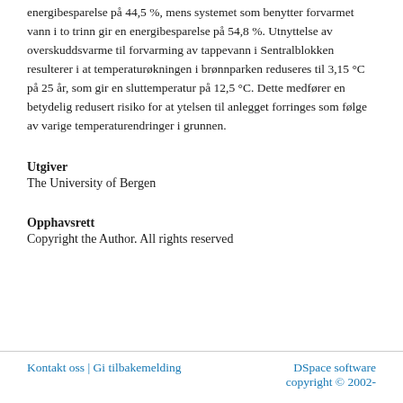energibesparelse på 44,5 %, mens systemet som benytter forvarmet vann i to trinn gir en energibesparelse på 54,8 %. Utnyttelse av overskuddsvarme til forvarming av tappevann i Sentralblokken resulterer i at temperaturøkningen i brønnparken reduseres til 3,15 °C på 25 år, som gir en sluttemperatur på 12,5 °C. Dette medfører en betydelig redusert risiko for at ytelsen til anlegget forringes som følge av varige temperaturendringer i grunnen.
Utgiver
The University of Bergen
Opphavsrett
Copyright the Author. All rights reserved
Kontakt oss | Gi tilbakemelding    DSpace software copyright © 2002-